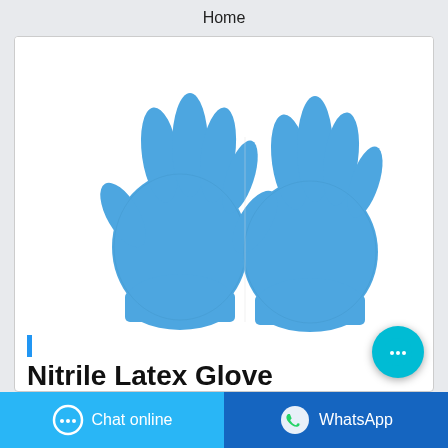Home
[Figure (photo): Two blue nitrile latex gloves shown side by side on white background]
|
Nitrile Latex Glove
Chat online
WhatsApp